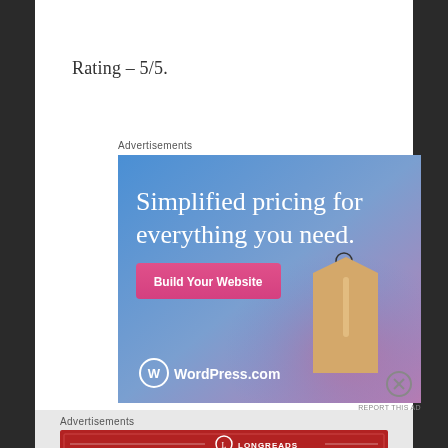Rating – 5/5.
Advertisements
[Figure (illustration): WordPress.com advertisement banner with blue-purple gradient background, text 'Simplified pricing for everything you need.', a pink 'Build Your Website' button, a tan price tag hanging from a wire, and WordPress.com logo at bottom left.]
REPORT THIS AD
Advertisements
[Figure (illustration): Longreads advertisement banner with dark red background, Longreads logo, and text 'The best stories on the web – ours, and everyone else's.']